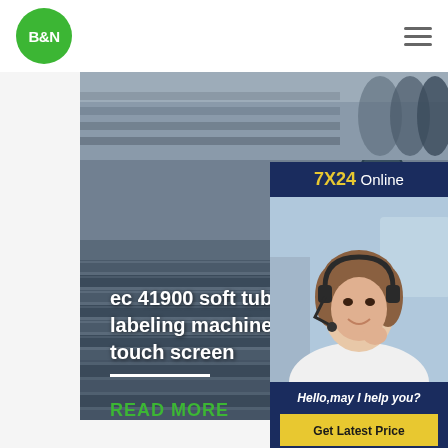[Figure (logo): B&N company logo: white text B&N on green circle]
[Figure (photo): Hamburger menu icon (three horizontal lines)]
[Figure (photo): Steel pipes/tubes product image strip at top]
[Figure (photo): Large main product image showing stacked steel pipes/tubes in dark blue-grey]
ec 41900 soft tube labeling machine with touch screen
READ MORE
[Figure (photo): 7X24 Online chat widget with customer service representative (woman with headset), Hello may I help you? text, and Get Latest Price button]